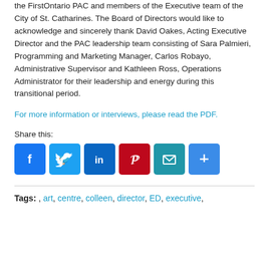the FirstOntario PAC and members of the Executive team of the City of St. Catharines.  The Board of Directors would like to acknowledge and sincerely thank David Oakes, Acting Executive Director and the PAC leadership team consisting of Sara Palmieri, Programming and Marketing Manager, Carlos Robayo, Administrative Supervisor and Kathleen Ross, Operations Administrator for their leadership and energy during this transitional period.
For more information or interviews, please read the PDF.
Share this:
[Figure (other): Social media sharing icons: Facebook, Twitter, LinkedIn, Pinterest, Email, Share]
Tags: , art, centre, colleen, director, ED, executive,